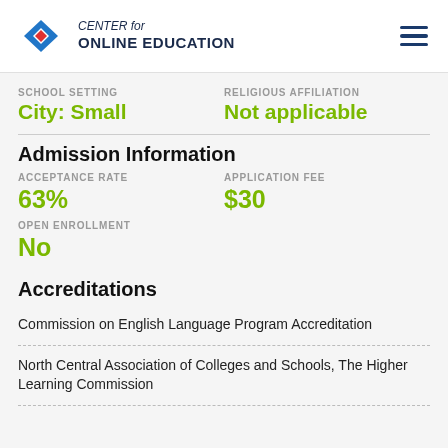CENTER for ONLINE EDUCATION
SCHOOL SETTING
City: Small
RELIGIOUS AFFILIATION
Not applicable
Admission Information
ACCEPTANCE RATE
63%
APPLICATION FEE
$30
OPEN ENROLLMENT
No
Accreditations
Commission on English Language Program Accreditation
North Central Association of Colleges and Schools, The Higher Learning Commission